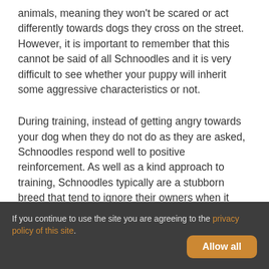animals, meaning they won’t be scared or act differently towards dogs they cross on the street. However, it is important to remember that this cannot be said of all Schnoodles and it is very difficult to see whether your puppy will inherit some aggressive characteristics or not.
During training, instead of getting angry towards your dog when they do not do as they are asked, Schnoodles respond well to positive reinforcement. As well as a kind approach to training, Schnoodles typically are a stubborn breed that tend to ignore their owners when it suits them. Therefore,
If you continue to use the site you are agreeing to the privacy policy of this site.